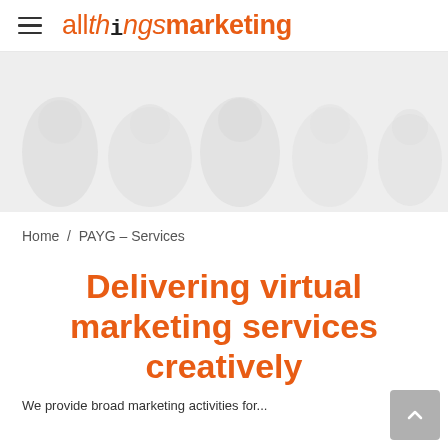allthingsmarketing
[Figure (photo): Hero banner image showing faded silhouettes of people in a meeting or office setting, light grey tones]
Home / PAYG – Services
Delivering virtual marketing services creatively
We provide broad marketing activities for...